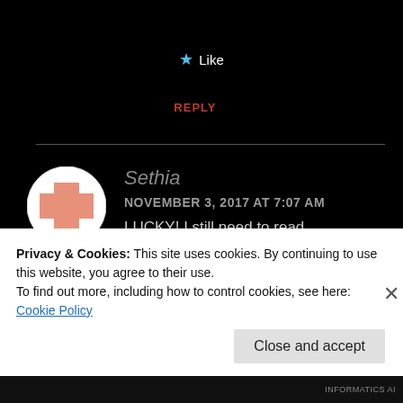★ Like
REPLY
[Figure (illustration): User avatar: circular icon with a salmon/pink cross-plus shape on white background, representing the user Sethia]
Sethia
NOVEMBER 3, 2017 AT 7:07 AM
LUCKY! I still need to read
Privacy & Cookies: This site uses cookies. By continuing to use this website, you agree to their use.
To find out more, including how to control cookies, see here: Cookie Policy
Close and accept